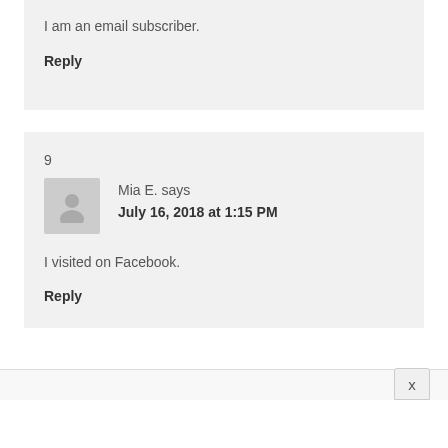I am an email subscriber.
Reply
9
Mia E. says
July 16, 2018 at 1:15 PM
I visited on Facebook.
Reply